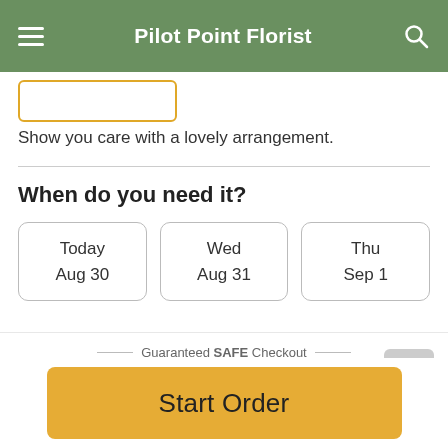Pilot Point Florist
Show you care with a lovely arrangement.
When do you need it?
Today
Aug 30
Wed
Aug 31
Thu
Sep 1
Guaranteed SAFE Checkout
VISA | Mastercard | American Express | Discover | Apple Pay
Start Order